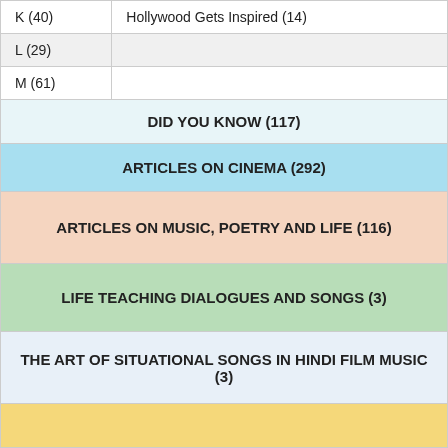|  |  |
| --- | --- |
| K (40) | Hollywood Gets Inspired (14) |
| L (29) |  |
| M (61) |  |
DID YOU KNOW (117)
ARTICLES ON CINEMA (292)
ARTICLES ON MUSIC, POETRY AND LIFE (116)
LIFE TEACHING DIALOGUES AND SONGS (3)
THE ART OF SITUATIONAL SONGS IN HINDI FILM MUSIC (3)